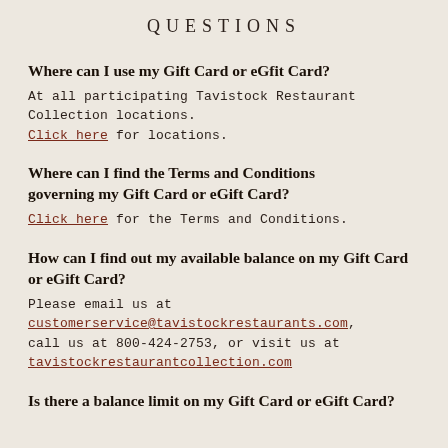QUESTIONS
Where can I use my Gift Card or eGfit Card?
At all participating Tavistock Restaurant Collection locations. Click here for locations.
Where can I find the Terms and Conditions governing my Gift Card or eGift Card?
Click here for the Terms and Conditions.
How can I find out my available balance on my Gift Card or eGift Card?
Please email us at customerservice@tavistockrestaurants.com, call us at 800-424-2753, or visit us at tavistockrestaurantcollection.com
Is there a balance limit on my Gift Card or eGift Card?